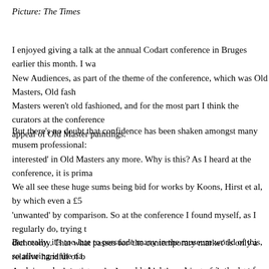Picture: The Times
I enjoyed giving a talk at the annual Codart conference in Bruges earlier this month. I wa... New Audiences, as part of the theme of the conference, which was Old Masters, Old fash... Masters weren't old fashioned, and for the most part I think the curators at the conference... appeal of Old Master paintings.
But there's no doubt that confidence has been shaken amongst many musem professionals... interested' in Old Masters any more. Why is this? As I heard at the conference, it is prima... We all see these huge sums being bid for works by Koons, Hirst et al, by which even a £5... 'unwanted' by comparison. So at the conference I found myself, as I regularly do, trying t... dichotomy. That what passes for 'the contemporary market' is only a relative handful of b... American, male artists, who happen to be the subject of the greatest speculative market th... Therefore, it is wrong to equate this financial phenomenon with genuine popular demand... art. It is a provable fact, incidentally, that more people visit Old Master exhibitions than c...
But really, it's too late to persuade many in the museum world of this, so alluring is the na... modern and contemporary art world. And so we've seen in the last few years an explosion... This is when curators and directors, lacking confidence in old art, and having lost the ab...